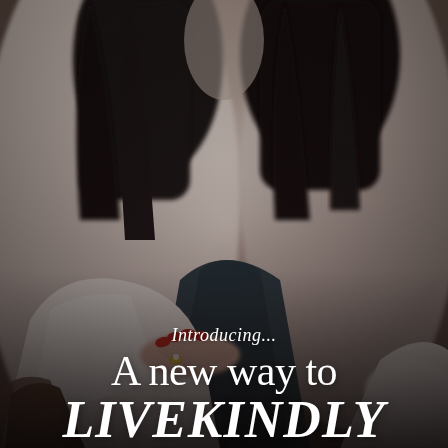[Figure (photo): Close-up photograph of two women embracing. Both have dark hair. One wears a white blazer/top, the other wears a dark navy/black top. The woman in white has red nails and wears a ring. A handbag strap is partially visible. The image is softly focused, warm and editorial in style.]
Introducing...
A new way to LIVEKINDLY